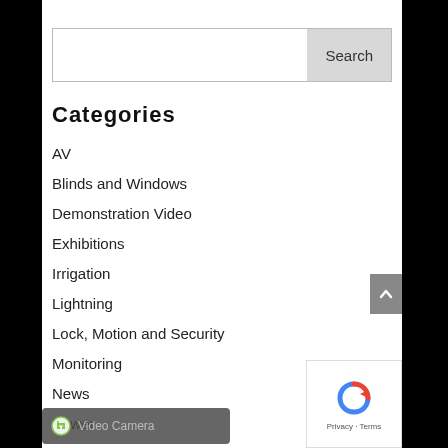Search
Categories
AV
Blinds and Windows
Demonstration Video
Exhibitions
Irrigation
Lightning
Lock, Motion and Security
Monitoring
News
Power
Temperature and HVAC
Uncategorized
Video Camera
Privacy · Terms